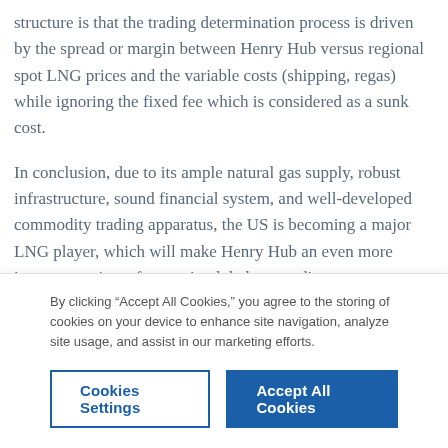structure is that the trading determination process is driven by the spread or margin between Henry Hub versus regional spot LNG prices and the variable costs (shipping, regas) while ignoring the fixed fee which is considered as a sunk cost.
In conclusion, due to its ample natural gas supply, robust infrastructure, sound financial system, and well-developed commodity trading apparatus, the US is becoming a major LNG player, which will make Henry Hub an even more important price reference in global gas trading.
By clicking “Accept All Cookies,” you agree to the storing of cookies on your device to enhance site navigation, analyze site usage, and assist in our marketing efforts.
Cookies Settings
Accept All Cookies